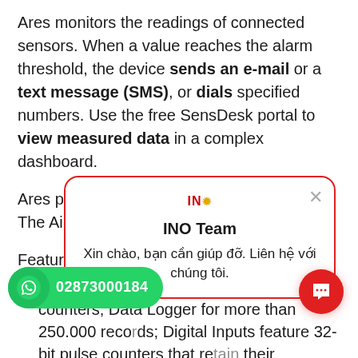Ares monitors the readings of connected sensors. When a value reaches the alarm threshold, the device sends an e-mail or a text message (SMS), or dials specified numbers. Use the free SensDesk portal to view measured data in a complex dashboard.
Ares products support FOTA (Firmware Over The Air) for remote firmware up[date...]
Features:
14x 1-Wire UNI/1-Wire [...] se counters; Data Logger for more than 250.000 records; Digital Inputs feature 32-bit pulse counters that retain their [...] if the power fails
[...Ring"]
Internal battery provides back-up power for up to 24 hours.
Use the USB interface to configure the device from a PC with
[Figure (infographic): Popup dialog box with red border, showing INO logo, title 'INO Team', and Vietnamese text 'Xin chào, bạn cần giúp đỡ. Liên hệ với chúng tôi.' with a close X button.]
[Figure (infographic): Green WhatsApp call button showing phone icon and number 02873000184]
[Figure (infographic): Red circular chat button with speech bubble icon]